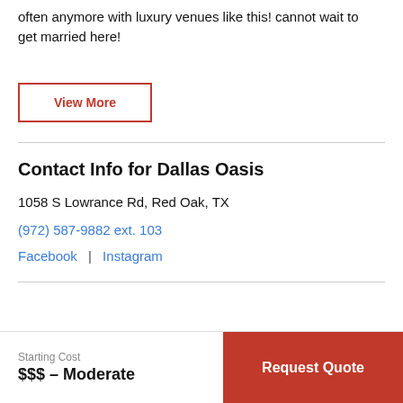often anymore with luxury venues like this! cannot wait to get married here!
View More
Contact Info for Dallas Oasis
1058 S Lowrance Rd, Red Oak, TX
(972) 587-9882 ext. 103
Facebook | Instagram
Starting Cost
$$$ – Moderate
Request Quote